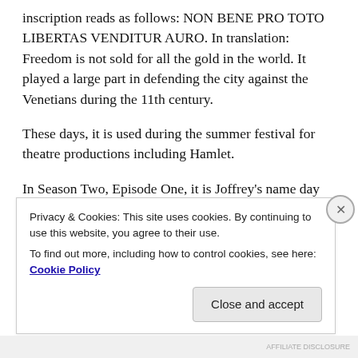inscription reads as follows: NON BENE PRO TOTO LIBERTAS VENDITUR AURO. In translation: Freedom is not sold for all the gold in the world. It played a large part in defending the city against the Venetians during the 11th century.
These days, it is used during the summer festival for theatre productions including Hamlet.
In Season Two, Episode One, it is Joffrey's name day and here is a scene of the landing where the fighting occured. I didn't take it at the exact angle but you get
Privacy & Cookies: This site uses cookies. By continuing to use this website, you agree to their use.
To find out more, including how to control cookies, see here: Cookie Policy
Close and accept